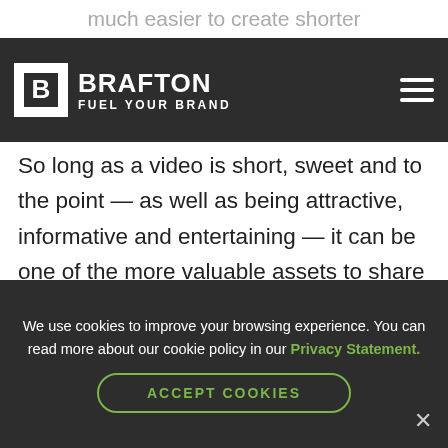much easier to create shorter
[Figure (logo): Brafton logo with B in white box and text BRAFTON FUEL YOUR BRAND on dark background nav bar with hamburger menu icon]
So long as a video is short, sweet and to the point — as well as being attractive, informative and entertaining — it can be one of the more valuable assets to share on your LinkedIn profile.
4. Text Only
We use cookies to improve your browsing experience. You can read more about our cookie policy in our Privacy Statement.
ACCEPT COOKIES